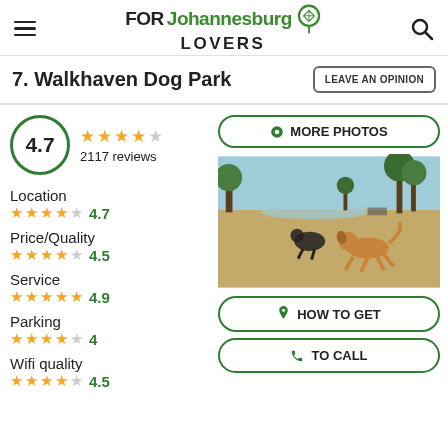FOR Johannesburg LOVERS
7. Walkhaven Dog Park
LEAVE AN OPINION
4.7 — 2117 reviews
Location 4.7
Price/Quality 4.5
Service 4.9
Parking 4
Wifi quality 4.5
[Figure (photo): Dogs playing in an open grassy park area with trees and a lake in the background]
MORE PHOTOS
HOW TO GET
TO CALL